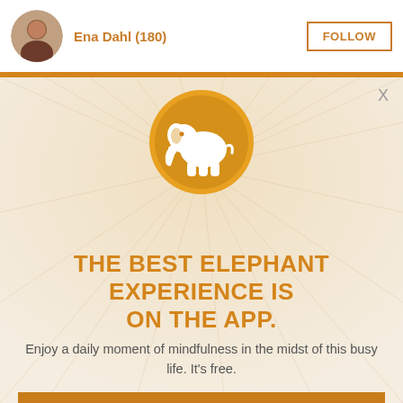Ena Dahl (180)   FOLLOW
[Figure (illustration): Orange circle logo with white elephant silhouette inside, surrounded by sunray pattern background]
THE BEST ELEPHANT EXPERIENCE IS ON THE APP.
Enjoy a daily moment of mindfulness in the midst of this busy life. It's free.
GET THE APP
OPEN IN APP